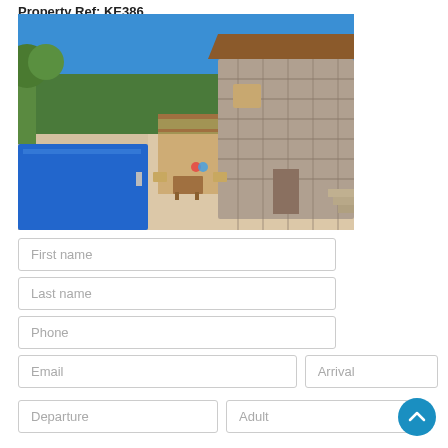Property Ref: KE386
[Figure (photo): A stone-clad villa with a private swimming pool and terrace, surrounded by greenery under a clear blue sky.]
First name
Last name
Phone
Email
Arrival
Departure
Adult